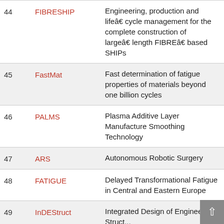| # | Name | Description |
| --- | --- | --- |
| 44 | FIBRESHIP | Engineering, production and life‑cycle management for the complete construction of large‑length FIBRE‑based SHIPs |
| 45 | FastMat | Fast determination of fatigue properties of materials beyond one billion cycles |
| 46 | PALMS | Plasma Additive Layer Manufacture Smoothing Technology |
| 47 | ARS | Autonomous Robotic Surgery |
| 48 | FATIGUE | Delayed Transformational Fatigue in Central and Eastern Europe |
| 49 | InDEStruct | Integrated Design of Engineering Structures... |